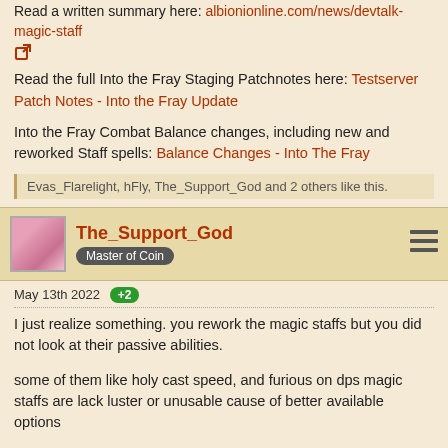Read a written summary here: albionionline.com/news/devtalk-magic-staff [external link]
Read the full Into the Fray Staging Patchnotes here: Testserver Patch Notes - Into the Fray Update
Into the Fray Combat Balance changes, including new and reworked Staff spells: Balance Changes - Into The Fray
Evas_Flarelight, hFly, The_Support_God and 2 others like this.
The_Support_God
Master of Coin
May 13th 2022 +2
I just realize something. you rework the magic staffs but you did not look at their passive abilities.
some of them like holy cast speed, and furious on dps magic staffs are lack luster or unusable cause of better available options
wargloves passive abilities have powerful passive effects
hFly and kasttiel like this.